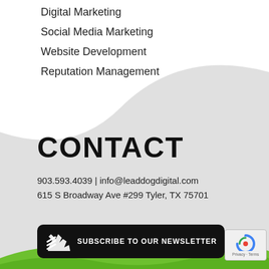Digital Marketing
Social Media Marketing
Website Development
Reputation Management
CONTACT
903.593.4039 | info@leaddogdigital.com
615 S Broadway Ave #299 Tyler, TX 75701
SUBSCRIBE TO OUR NEWSLETTER